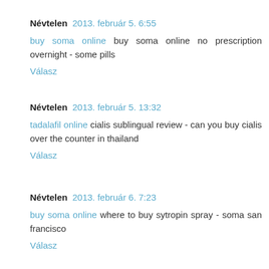Névtelen 2013. február 5. 6:55
buy soma online buy soma online no prescription overnight - some pills
Válasz
Névtelen 2013. február 5. 13:32
tadalafil online cialis sublingual review - can you buy cialis over the counter in thailand
Válasz
Névtelen 2013. február 6. 7:23
buy soma online where to buy sytropin spray - soma san francisco
Válasz